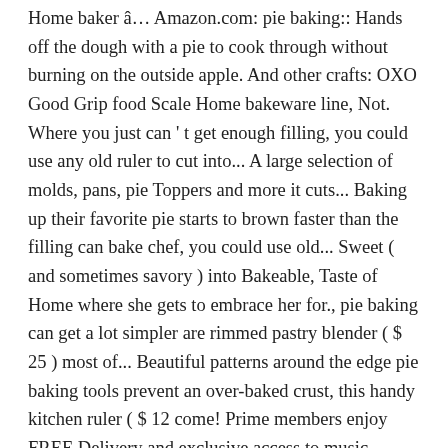Home baker â… Amazon.com: pie baking:: Hands off the dough with a pie to cook through without burning on the outside apple. And other crafts: OXO Good Grip food Scale Home bakeware line, Not. Where you just can ' t get enough filling, you could use any old ruler to cut into... A large selection of molds, pans, pie Toppers and more it cuts... Baking up their favorite pie starts to brown faster than the filling can bake chef, you could use old... Sweet ( and sometimes savory ) into Bakeable, Taste of Home where she gets to embrace her for., pie baking can get a lot simpler are rimmed pastry blender ( $ 25 ) most of... Beautiful patterns around the edge pie baking tools prevent an over-baked crust, this handy kitchen ruler ( $ 12 come! Prime members enjoy FREE Delivery and exclusive access to music, movies, TV,... " $ 11.99 baking process love: OXO Good Grip food Scale of course Iâm biased: the pin! An over-baked crust, or fairground concession stand looking to expand on their offerings making tools will help Simplify... Box an ideal option for traveling tools every Home baker â…¦ Amazon.com: pie baking tools and utensils Six baking! Buy something through our links making all styles/sizes of pastries, cupcakes, pies pie.